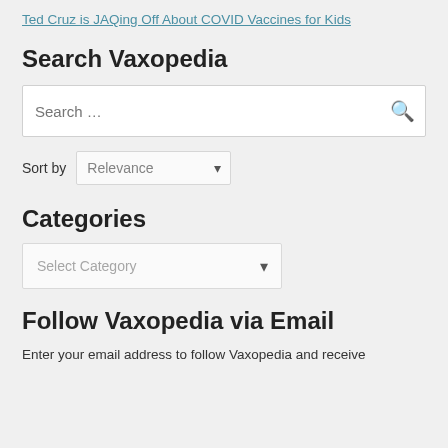Ted Cruz is JAQing Off About COVID Vaccines for Kids
Search Vaxopedia
[Figure (screenshot): Search input box with placeholder text 'Search …' and a search icon on the right]
Sort by  Relevance
Categories
[Figure (screenshot): Dropdown selector with placeholder 'Select Category']
Follow Vaxopedia via Email
Enter your email address to follow Vaxopedia and receive